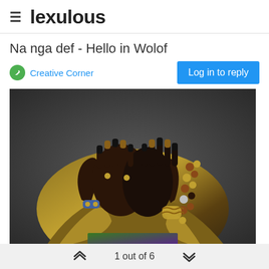lexulous
Na nga def - Hello in Wolof
Creative Corner   Log in to reply
[Figure (photo): A person wearing a golden/metallic fabric draped around them, covering their face with both hands adorned with long nails, multiple rings, bracelets, and beaded necklaces. The background is dark grey.]
(Image Courtesy: https://zoede.com/)
1 out of 6